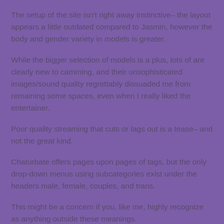The setup of the site isn't right away instinctive– the layout appears a little outdated compared to Jasmin, however the body and gender variety in models is greater.
While the bigger selection of models is a plus, lots of are clearly new to camming, and their unsophisticated images/sound quality regrettably dissuaded me from remaining some spaces, even when I really liked the entertainer.
Poor quality streaming that cuts or lags out is a tease– and not the great kind.
Chaturbate offers pages upon pages of tags, but the only drop-down menus using subcategories exist under the headers male, female, couples, and trans.
This might be a concern if you, like me, highly recognize as anything outside these meanings.